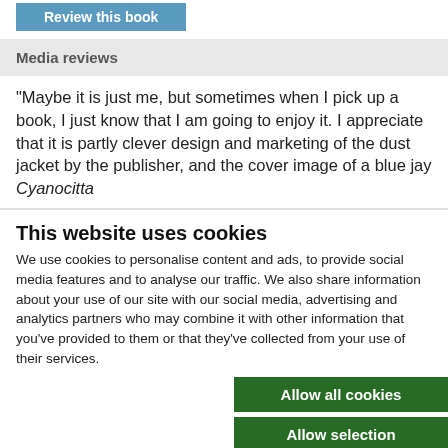[Figure (other): Blue 'Review this book' button]
Media reviews
"Maybe it is just me, but sometimes when I pick up a book, I just know that I am going to enjoy it. I appreciate that it is partly clever design and marketing of the dust jacket by the publisher, and the cover image of a blue jay Cyanocitta
This website uses cookies
We use cookies to personalise content and ads, to provide social media features and to analyse our traffic. We also share information about your use of our site with our social media, advertising and analytics partners who may combine it with other information that you've provided to them or that they've collected from your use of their services.
[Figure (other): Allow all cookies button (green)]
[Figure (other): Allow selection button (green)]
[Figure (other): Use necessary cookies only button (dark/black)]
Necessary  Preferences  Statistics  Marketing  Show details